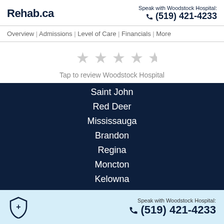Rehab.ca
Speak with Woodstock Hospital: (519) 421-4233
Overview | Admissions | Level of Care | Financials | More
[Figure (other): Five empty star rating icons in gray]
Tap to review Woodstock Hospital
Saint John
Red Deer
Mississauga
Brandon
Regina
Moncton
Kelowna
Laval
Mount Pearl
Whitehorse
Speak with Woodstock Hospital: (519) 421-4233